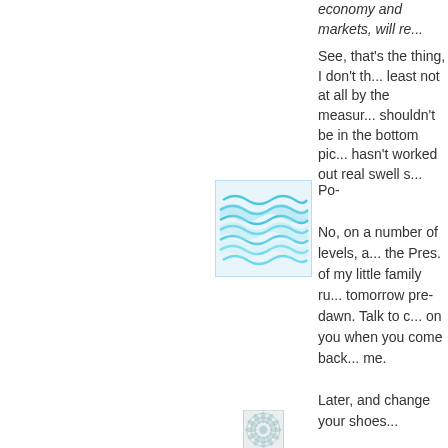if ZeRanks can start the ... economy and markets, will re...
See, that's the thing, I don't th... least not at all by the measur... shouldn't be in the bottom pic... hasn't worked out real swell s...
[Figure (photo): Avatar icon with blue wave pattern on light background]
Po-
No, on a number of levels, a... the Pres. of my little family ru... tomorrow pre-dawn. Talk to c... on you when you come back... me.
Later, and change your shoes...
Sheesh.
Night all, AGAIN.
[Figure (photo): Avatar icon with circular floral or mandala pattern in teal/grey tones]